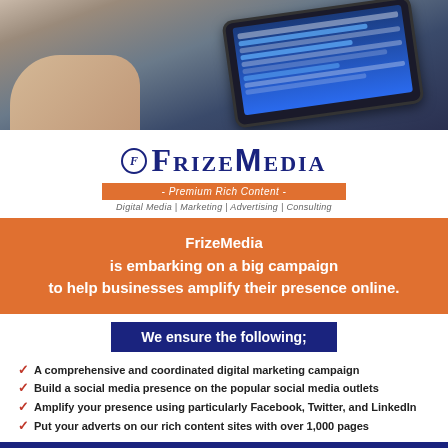[Figure (photo): Person holding a tablet device displaying a social media feed, photo banner at top of page]
[Figure (logo): FrizeMedia logo with circular icon, tagline bar 'Premium Rich Content', subtitle 'Digital Media | Marketing | Advertising | Consulting']
FrizeMedia is embarking on a big campaign to help businesses amplify their presence online.
We ensure the following;
A comprehensive and coordinated digital marketing campaign
Build a social media presence on the popular social media outlets
Amplify your presence using particularly Facebook, Twitter, and LinkedIn
Put your adverts on our rich content sites with over 1,000 pages
Expected Results
Organic Search Engine Optimization (SEO)
Social Media Engagement (Twitter/Facebook/LinkedIn)
Performance Analysis & Monthly reports
We drive traffic to your site